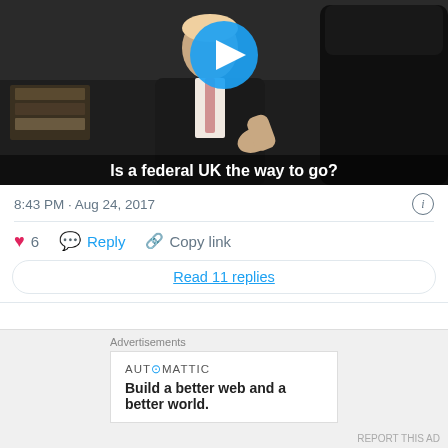[Figure (screenshot): Video thumbnail showing two men in conversation with a play button overlay and caption 'Is a federal UK the way to go?']
8:43 PM · Aug 24, 2017
6  Reply  Copy link
Read 11 replies
Take for example Bernard Ponsonby's interview with Jeremy Corbyn last night on STV's Scotland Tonight programme. When Ponsonby asked
Advertisements
AUTOMATTIC
Build a better web and a better world.